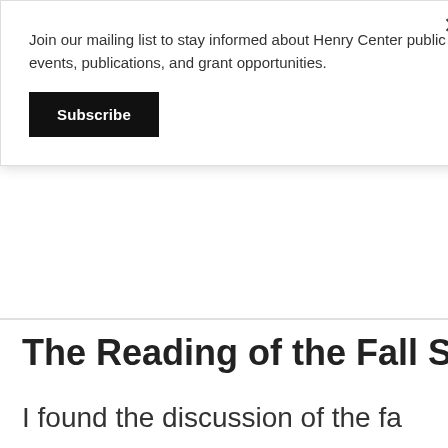Join our mailing list to stay informed about Henry Center public events, publications, and grant opportunities.
Subscribe
The Reading of the Fall Story i
I found the discussion of the fa more attention. Granted, Craig about historical Adam and Eve, concerned with “fantastic” and elements in the stories, he has